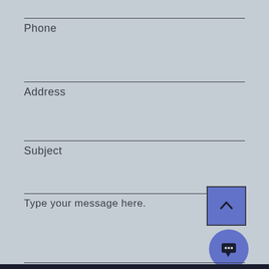Phone
Address
Subject
Type your message here.
[Figure (other): Blue scroll-to-top button with upward chevron arrow]
[Figure (other): Blue circular chat bubble button with ellipsis dots]